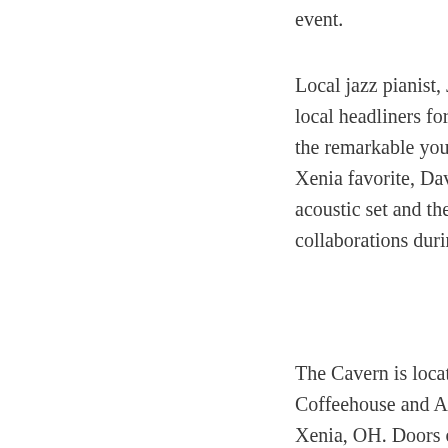event.
Local jazz pianist, James McPeek and his combo will be the local headliners for the evening’s entertainment along with the remarkable young singer-songwriter Alli King. Another Xenia favorite, David Payne, will be opening at 8 with an acoustic set and there may be some interesting musical collaborations during the evening as well.
The Cavern is located in the lower level of Express Yourself Coffeehouse and Art Gallery at 78 E. Main St. in downtown Xenia, OH. Doors open at 7:30 and the show